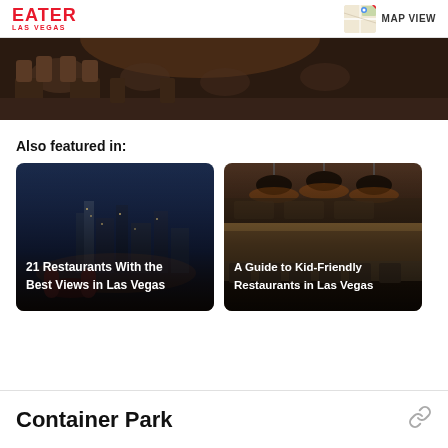EATER LAS VEGAS | MAP VIEW
[Figure (photo): Dark interior restaurant scene showing chairs and tables, partial view, cropped strip at top]
Also featured in:
[Figure (photo): Night cityscape of Las Vegas viewed from elevated restaurant with red seating in foreground. Card titled '21 Restaurants With the Best Views in Las Vegas']
[Figure (photo): Modern restaurant interior with pendant lamps over a long bar/counter. Card titled 'A Guide to Kid-Friendly Restaurants in Las Vegas']
Container Park